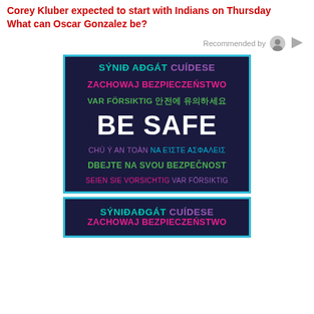Corey Kluber expected to start with Indians on Thursday
What can Oscar Gonzalez be?
Recommended by
[Figure (illustration): Dark navy blue square graphic with multilingual 'BE SAFE' text. Top lines: 'SÝNIÐ AÐGÁT' in teal, 'CUÍDESE' in purple, 'ZACHOWAJ BEZPIECZEŃSTWO' in magenta/pink, 'VAR FÖRSIKTIG' in green, Korean text in green. Center: large white 'BE SAFE'. Bottom lines: 'CHÚ Ý AN TOÀN' in purple, 'NA ΕΊΣΤΕ ΑΣΦΑΛΕΙΣ' in teal, 'DBEJTE NA SVOU BEZPEČNOST' in green, 'SEIEN SIE VORSICHTIG' in pink, 'VAR FÖRSIKTIG' in purple. Bordered in teal.]
[Figure (illustration): Partial view of the same dark navy blue 'BE SAFE' multilingual graphic, cropped to show top two lines: 'SÝNIÐ AÐGÁT CUÍDESE' and 'ZACHOWAJ BEZPIECZEŃSTWO'.]